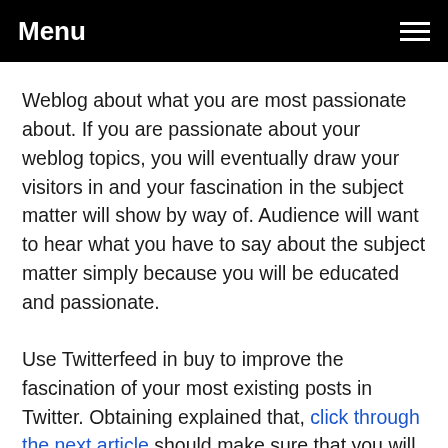Menu
Weblog about what you are most passionate about. If you are passionate about your weblog topics, you will eventually draw your visitors in and your fascination in the subject matter will show by way of. Audience will want to hear what you have to say about the subject matter simply because you will be educated and passionate.
Use Twitterfeed in buy to improve the fascination of your most existing posts in Twitter. Obtaining explained that, click through the next article should make sure that you will not basically use Twitterfeed. Getting an actual individual on Twitter is the very first